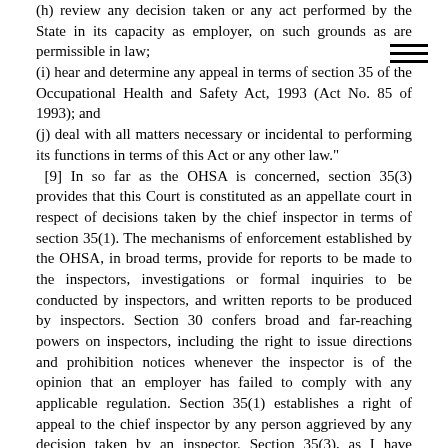(h) review any decision taken or any act performed by the State in its capacity as employer, on such grounds as are permissible in law;
(i) hear and determine any appeal in terms of section 35 of the Occupational Health and Safety Act, 1993 (Act No. 85 of 1993); and
(j) deal with all matters necessary or incidental to performing its functions in terms of this Act or any other law."
[9] In so far as the OHSA is concerned, section 35(3) provides that this Court is constituted as an appellate court in respect of decisions taken by the chief inspector in terms of section 35(1). The mechanisms of enforcement established by the OHSA, in broad terms, provide for reports to be made to the inspectors, investigations or formal inquiries to be conducted by inspectors, and written reports to be produced by inspectors. Section 30 confers broad and far-reaching powers on inspectors, including the right to issue directions and prohibition notices whenever the inspector is of the opinion that an employer has failed to comply with any applicable regulation. Section 35(1) establishes a right of appeal to the chief inspector by any person aggrieved by any decision taken by an inspector. Section 35(3), as I have indicated, provides that any person aggrieved by decision taken by the chief inspector either on appeal or in the exercise of any power under the Act, may appeal to this Court. This Court is empowered by section 35(2) to confirm, set aside or vary the